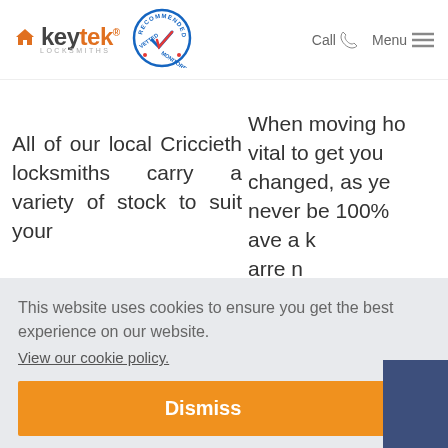[Figure (logo): Keytek Locksmiths logo with orange house icon and grey text, alongside a blue circular 'Recommended Vetted Monitored' badge with red and blue checkmark]
Call  Menu
All of our local Criccieth locksmiths carry a variety of stock to suit your
When moving ho vital to get you changed, as ye never be 100% ave a k rrre n
This website uses cookies to ensure you get the best experience on our website.
View our cookie policy.
Dismiss